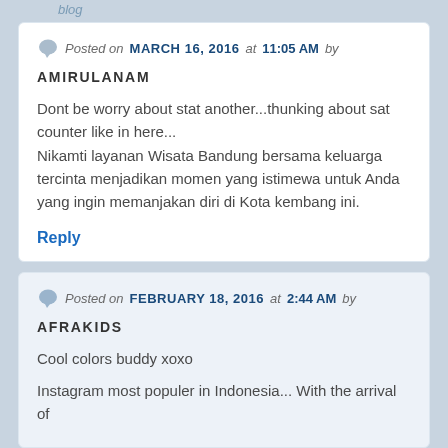blog
Posted on MARCH 16, 2016 at 11:05 AM by
AMIRULANAM
Dont be worry about stat another...thunking about sat counter like in here...
Nikamti layanan Wisata Bandung bersama keluarga tercinta menjadikan momen yang istimewa untuk Anda yang ingin memanjakan diri di Kota kembang ini.
Reply
Posted on FEBRUARY 18, 2016 at 2:44 AM by
AFRAKIDS
Cool colors buddy xoxo
Instagram most populer in Indonesia... With the arrival of